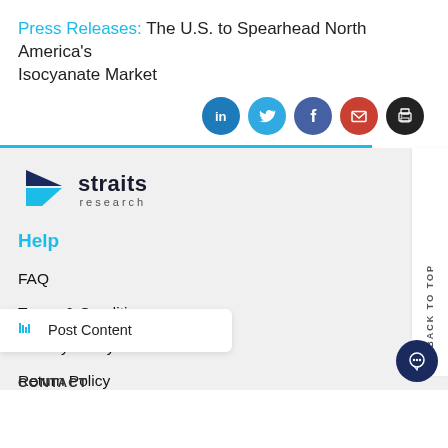Press Releases: The U.S. to Spearhead North America's Isocyanate Market
[Figure (infographic): Row of 5 social media share icons: LinkedIn (blue), Twitter (light blue), Facebook (dark blue), Email (red), Print (black)]
[Figure (logo): Straits Research logo with cyan/navy arrow and text 'straits research']
Help
FAQ
Terms & Conditions
Privacy Policy
Return Policy
Post Content
CONTACT